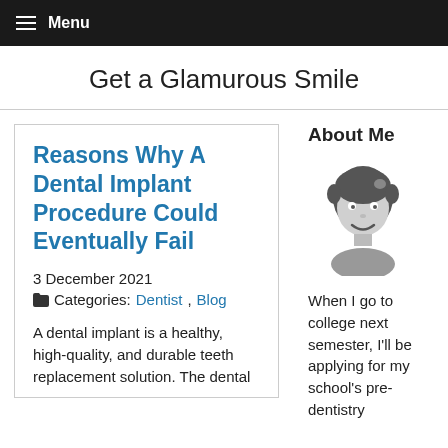Menu
Get a Glamurous Smile
Reasons Why A Dental Implant Procedure Could Eventually Fail
3 December 2021
Categories: Dentist, Blog
A dental implant is a healthy, high-quality, and durable teeth replacement solution. The dental
About Me
[Figure (illustration): Cartoon avatar of a girl with dark hair and a smile]
When I go to college next semester, I'll be applying for my school's pre-dentistry